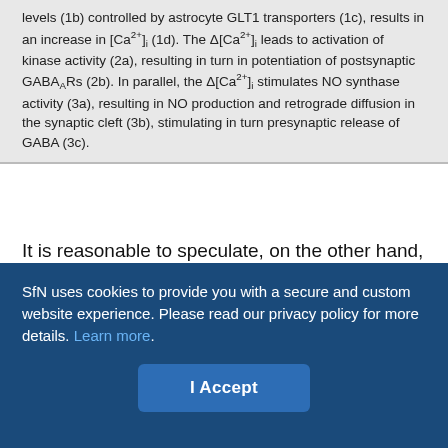levels (1b) controlled by astrocyte GLT1 transporters (1c), results in an increase in [Ca2+]i (1d). The Δ[Ca2+]i leads to activation of kinase activity (2a), resulting in turn in potentiation of postsynaptic GABAA Rs (2b). In parallel, the Δ[Ca2+]i stimulates NO synthase activity (3a), resulting in NO production and retrograde diffusion in the synaptic cleft (3b), stimulating in turn presynaptic release of GABA (3c).
It is reasonable to speculate, on the other hand, that a diminished efficacy of this counterbalancing mechanism would result in an enhanced NMDA-mediated excitatory effect in MNCs. Indeed, we found a blunted NMDA-mediated potentiation of IGABAA in MNCs of rats with congestive HF, supporting an uncoupling between these major neurotransmitter receptors. HF is a syndrome characterized by an increased neurohumoral drive, which involves augmented sympathetic tone and elevated hormonal plasma levels, including
SfN uses cookies to provide you with a secure and custom website experience. Please read our privacy policy for more details. Learn more